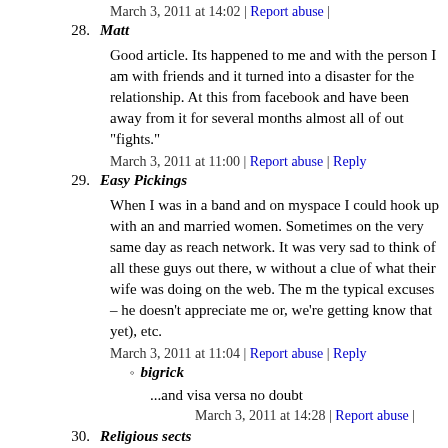March 3, 2011 at 14:02 | Report abuse |
28. Matt
Good article. Its happened to me and with the person I am with friends and it turned into a disaster for the relationship. At this from facebook and have been away from it for several months almost all of out "fights."
March 3, 2011 at 11:00 | Report abuse | Reply
29. Easy Pickings
When I was in a band and on myspace I could hook up with an and married women. Sometimes on the very same day as reach network. It was very sad to think of all these guys out there, w without a clue of what their wife was doing on the web. The m the typical excuses – he doesn't appreciate me or, we're getting know that yet), etc.
March 3, 2011 at 11:04 | Report abuse | Reply
bigrick
...and visa versa no doubt
March 3, 2011 at 14:28 | Report abuse |
30. Religious sects